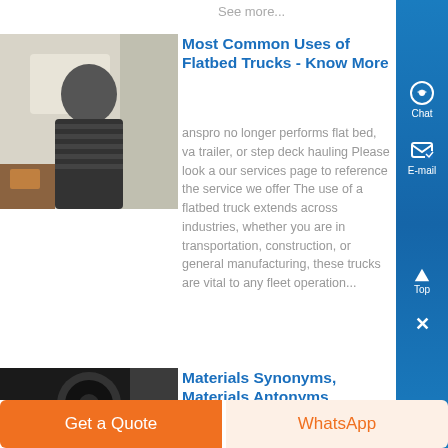See more...
[Figure (photo): Photo of a person in dark striped clothing standing at a table indoors]
Most Common Uses of Flatbed Trucks - Know More
anspro no longer performs flat bed, va trailer, or step deck hauling Please look at our services page to reference the services we offer The use of a flatbed truck extends across industries, whether you are in transportation, construction, or general manufacturing, these trucks are vital to any fleet operation...
[Figure (photo): Dark circular opening, possibly a tire or drum, in black and white]
Materials Synonyms, Materials Antonyms
Get a Quote
WhatsApp